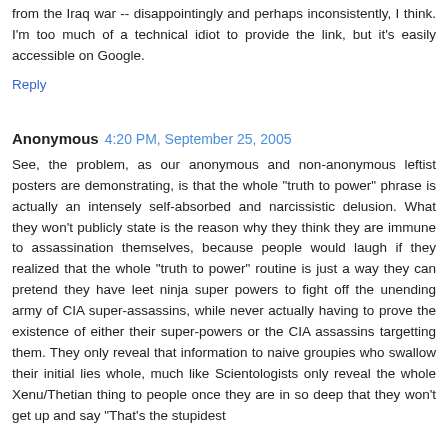from the Iraq war -- disappointingly and perhaps inconsistently, I think. I'm too much of a technical idiot to provide the link, but it's easily accessible on Google.
Reply
Anonymous  4:20 PM, September 25, 2005
See, the problem, as our anonymous and non-anonymous leftist posters are demonstrating, is that the whole "truth to power" phrase is actually an intensely self-absorbed and narcissistic delusion. What they won't publicly state is the reason why they think they are immune to assassination themselves, because people would laugh if they realized that the whole "truth to power" routine is just a way they can pretend they have leet ninja super powers to fight off the unending army of CIA super-assassins, while never actually having to prove the existence of either their super-powers or the CIA assassins targetting them. They only reveal that information to naive groupies who swallow their initial lies whole, much like Scientologists only reveal the whole Xenu/Thetian thing to people once they are in so deep that they won't get up and say "That's the stupidest